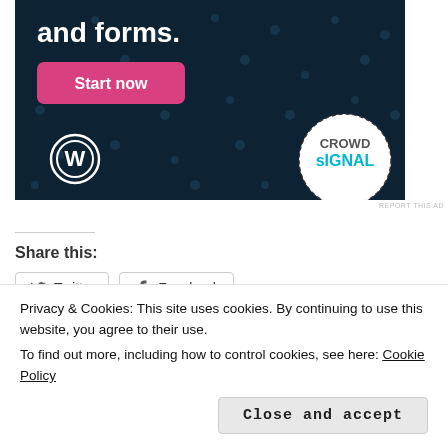[Figure (illustration): Ad banner with dark navy background with dot pattern. Text 'and forms.' in white bold. Pink 'Start now' button. WordPress logo bottom left. CrowdSignal circular logo bottom right.]
REPORT THIS AD
Share this:
Twitter  Facebook
Like
Privacy & Cookies: This site uses cookies. By continuing to use this website, you agree to their use.
To find out more, including how to control cookies, see here: Cookie Policy
Close and accept